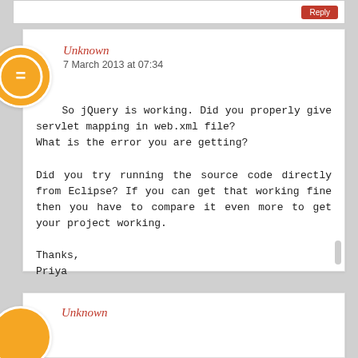[Figure (other): Reply button stub at top of page]
Unknown
7 March 2013 at 07:34
So jQuery is working. Did you properly give servlet mapping in web.xml file?
What is the error you are getting?

Did you try running the source code directly from Eclipse? If you can get that working fine then you have to compare it even more to get your project working.

Thanks,
Priya
Unknown